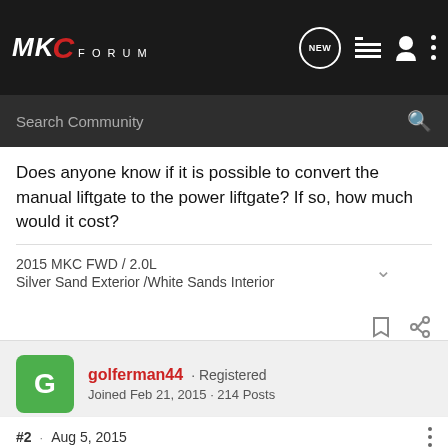MKC FORUM
Search Community
Does anyone know if it is possible to convert the manual liftgate to the power liftgate? If so, how much would it cost?
2015 MKC FWD / 2.0L
Silver Sand Exterior /White Sands Interior
golferman44 · Registered
Joined Feb 21, 2015 · 214 Posts
#2 · Aug 5, 2015